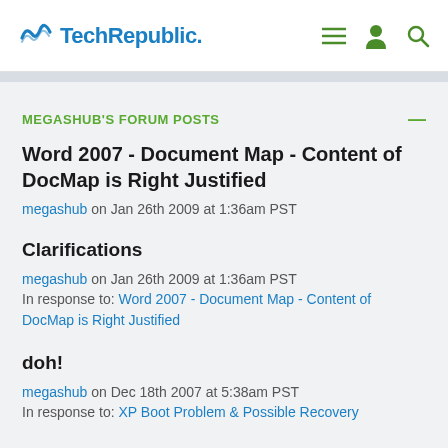TechRepublic
MEGASHUB'S FORUM POSTS
Word 2007 - Document Map - Content of DocMap is Right Justified
megashub on Jan 26th 2009 at 1:36am PST
Clarifications
megashub on Jan 26th 2009 at 1:36am PST
In response to: Word 2007 - Document Map - Content of DocMap is Right Justified
doh!
megashub on Dec 18th 2007 at 5:38am PST
In response to: XP Boot Problem & Possible Recovery